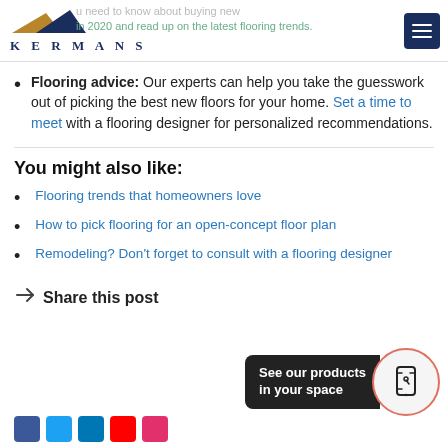KERMANS
Flooring advice: Our experts can help you take the guesswork out of picking the best new floors for your home. Set a time to meet with a flooring designer for personalized recommendations.
You might also like:
Flooring trends that homeowners love
How to pick flooring for an open-concept floor plan
Remodeling? Don't forget to consult with a flooring designer
Share this post
[Figure (infographic): AR badge: 'See our products in your space' with a phone scan icon in a circular badge with salmon border]